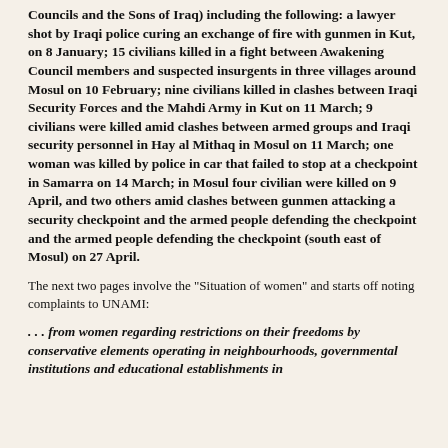Councils and the Sons of Iraq) including the following: a lawyer shot by Iraqi police curing an exchange of fire with gunmen in Kut, on 8 January; 15 civilians killed in a fight between Awakening Council members and suspected insurgents in three villages around Mosul on 10 February; nine civilians killed in clashes between Iraqi Security Forces and the Mahdi Army in Kut on 11 March; 9 civilians were killed amid clashes between armed groups and Iraqi security personnel in Hay al Mithaq in Mosul on 11 March; one woman was killed by police in car that failed to stop at a checkpoint in Samarra on 14 March; in Mosul four civilian were killed on 9 April, and two others amid clashes between gunmen attacking a security checkpoint and the armed people defending the checkpoint and the armed people defending the checkpoint (south east of Mosul) on 27 April.
The next two pages involve the "Situation of women" and starts off noting complaints to UNAMI:
. . . from women regarding restrictions on their freedoms by conservative elements operating in neighbourhoods, governmental institutions and educational establishments in